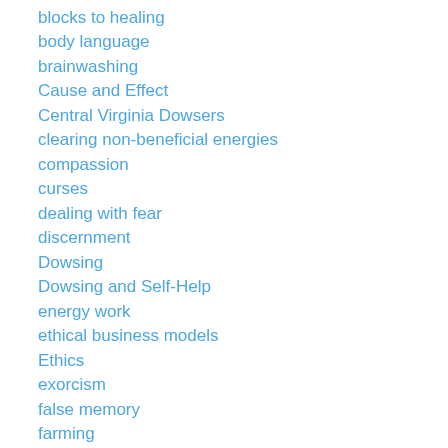blocks to healing
body language
brainwashing
Cause and Effect
Central Virginia Dowsers
clearing non-beneficial energies
compassion
curses
dealing with fear
discernment
Dowsing
Dowsing and Self-Help
energy work
ethical business models
Ethics
exorcism
false memory
farming
ghost busting
goal setting